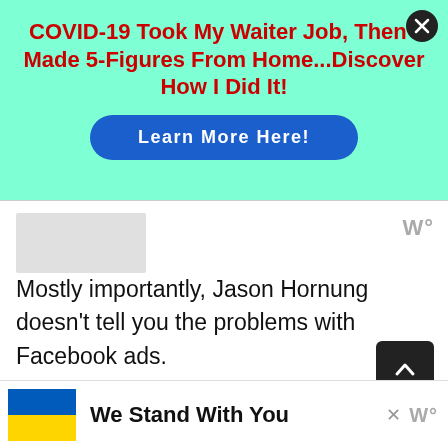[Figure (screenshot): Ad banner with mint/aqua background. Red bold headline: 'COVID-19 Took My Waiter Job, Then I Made 5-Figures From Home...Discover How I Did It!' with a blue rounded 'Learn More Here!' button. Close X button in top-right corner.]
Mostly importantly, Jason Hornung doesn't tell you the problems with Facebook ads.
Facebook advertising has become more and more expensive over the years. The price is on
[Figure (infographic): Bottom banner with Ukraine flag (blue and yellow) and text 'We Stand With You' in bold black, with a close X button and Weatherbug logo.]